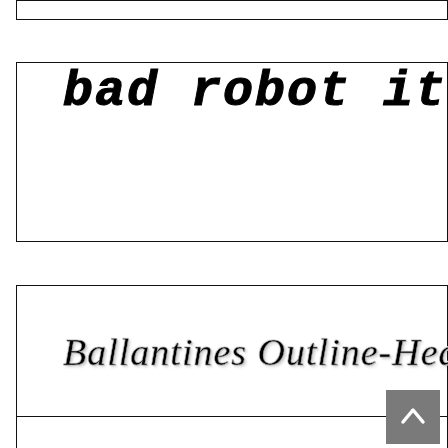[Figure (other): Top partial box, cut off at top of page]
bad robot italic la
Ballantines Outline-Heavy
[Figure (other): Scroll-to-top button, gray square with upward chevron]
[Figure (other): Bottom partial box, cut off at bottom of page]